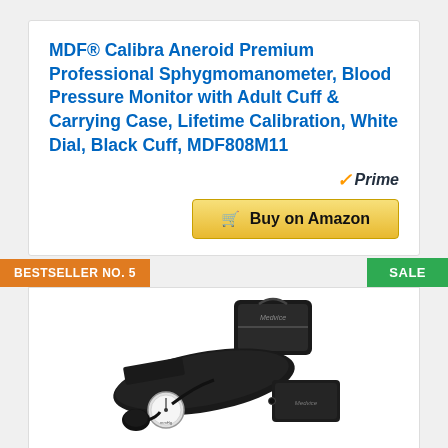MDF® Calibra Aneroid Premium Professional Sphygmomanometer, Blood Pressure Monitor with Adult Cuff & Carrying Case, Lifetime Calibration, White Dial, Black Cuff, MDF808M11
[Figure (logo): Amazon Prime logo with checkmark]
[Figure (screenshot): Buy on Amazon button with cart icon]
BESTSELLER NO. 5
SALE
[Figure (photo): Medvice aneroid sphygmomanometer with black cuff, bulb, and carrying case]